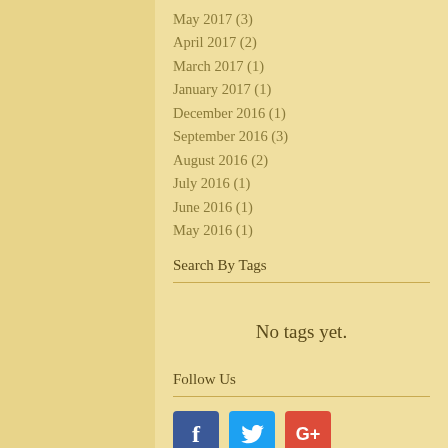May 2017 (3)
April 2017 (2)
March 2017 (1)
January 2017 (1)
December 2016 (1)
September 2016 (3)
August 2016 (2)
July 2016 (1)
June 2016 (1)
May 2016 (1)
Search By Tags
No tags yet.
Follow Us
[Figure (other): Social media icons: Facebook (blue), Twitter (light blue), Google+ (red)]